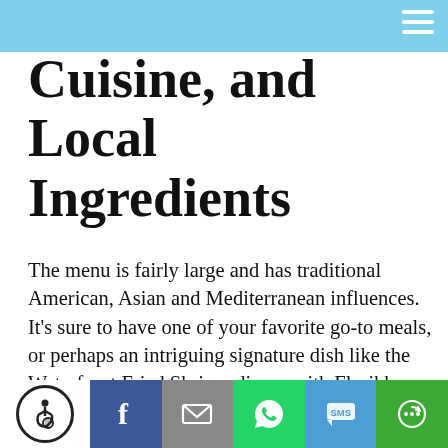Cuisine, and Local Ingredients
The menu is fairly large and has traditional American, Asian and Mediterranean influences. It's sure to have one of your favorite go-to meals, or perhaps an intriguing signature dish like the Waterfront Fried Shrimp dinner with Floribbean Remoulade or a mouth-watering Waterfront Wagyu Beef Burger with Bacon-Onion Jam. Appetizers are diverse and range from steamed mussels and tuna sashimi to southern favorites like fried green tomatoes or a rotating soup of the day.
The lunch menu is unique and incorporates a different selection of lighter fare such as quiche, BLTs, grouper